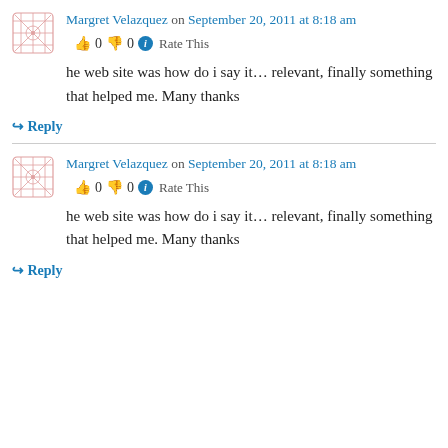Margret Velazquez on September 20, 2011 at 8:18 am
👍 0 👎 0 ℹ Rate This
he web site was how do i say it… relevant, finally something that helped me. Many thanks
↪ Reply
Margret Velazquez on September 20, 2011 at 8:18 am
👍 0 👎 0 ℹ Rate This
he web site was how do i say it… relevant, finally something that helped me. Many thanks
↪ Reply